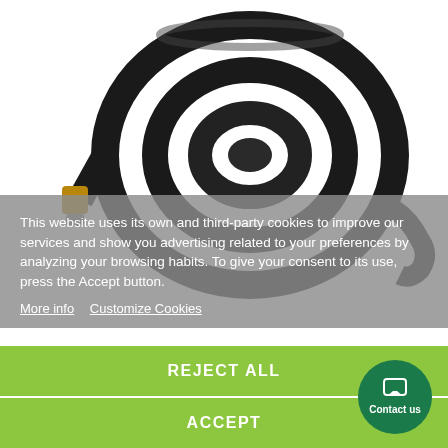[Figure (photo): Coiled black cable/hose with gold-colored SMA connector end, photographed on white background]
This website uses its own and third-party cookies to improve our services and show you advertising related to your preferences by analyzing your browsing habits. To give your consent to its use, press the Accept button.
More info   Customize Cookies
REJECT ALL
ACCEPT
Contact us